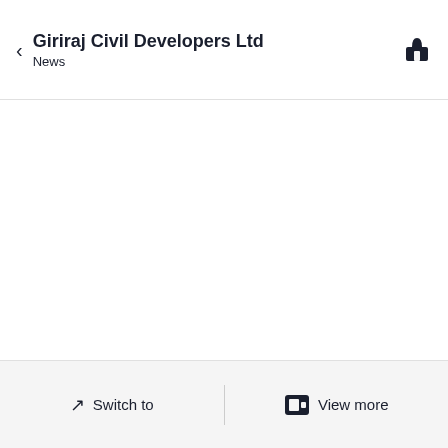Giriraj Civil Developers Ltd
News
[Figure (screenshot): Empty news feed content area for Giriraj Civil Developers Ltd]
Switch to | View more